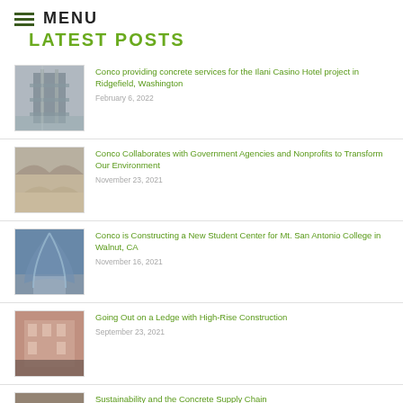≡ MENU
LATEST POSTS
Conco providing concrete services for the Ilani Casino Hotel project in Ridgefield, Washington
February 6, 2022
Conco Collaborates with Government Agencies and Nonprofits to Transform Our Environment
November 23, 2021
Conco is Constructing a New Student Center for Mt. San Antonio College in Walnut, CA
November 16, 2021
Going Out on a Ledge with High-Rise Construction
September 23, 2021
Sustainability and the Concrete Supply Chain
September 16, 2021